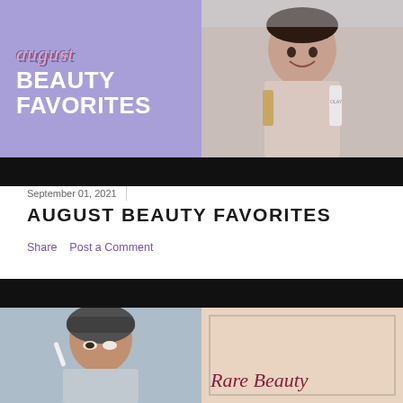[Figure (photo): Thumbnail image showing 'August Beauty Favorites' text on purple background on the left, and a smiling woman holding beauty products including Olay on the right]
September 01, 2021
AUGUST BEAUTY FAVORITES
Share   Post a Comment
[Figure (photo): YouTube video thumbnail showing a woman applying mascara on the left, and a peach/cream background with 'Rare Beauty' text on the right]